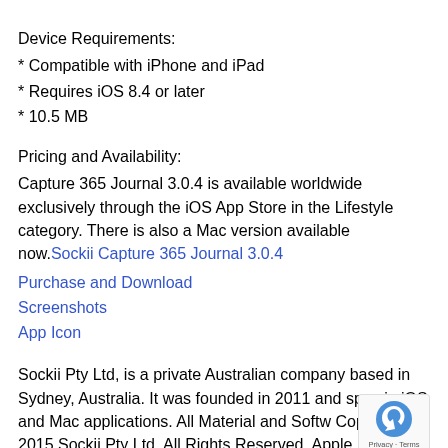Device Requirements:
* Compatible with iPhone and iPad
* Requires iOS 8.4 or later
* 10.5 MB
Pricing and Availability:
Capture 365 Journal 3.0.4 is available worldwide exclusively through the iOS App Store in the Lifestyle category. There is also a Mac version available now.Sockii Capture 365 Journal 3.0.4
Purchase and Download
Screenshots
App Icon
Sockii Pty Ltd, is a private Australian company based in Sydney, Australia. It was founded in 2011 and spec in iOS and Mac applications. All Material and Softw Copyright 2015 Sockii Pty Ltd. All Rights Reserved. Apple,